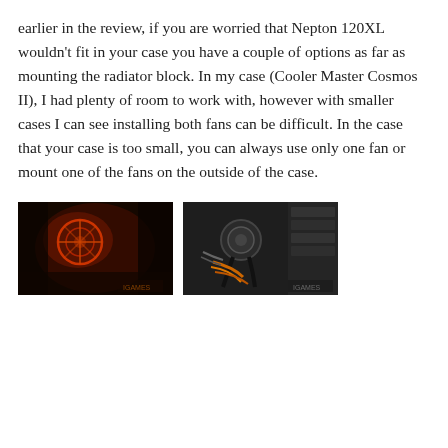earlier in the review, if you are worried that Nepton 120XL wouldn't fit in your case you have a couple of options as far as mounting the radiator block. In my case (Cooler Master Cosmos II), I had plenty of room to work with, however with smaller cases I can see installing both fans can be difficult. In the case that your case is too small, you can always use only one fan or mount one of the fans on the outside of the case.
[Figure (photo): Dark interior of a PC case with red/orange lighting showing a liquid cooler pump and fan mounted inside.]
[Figure (photo): Dark interior of a PC case in gray tones showing a liquid cooler with black tubing, orange cables, and drive bays visible.]